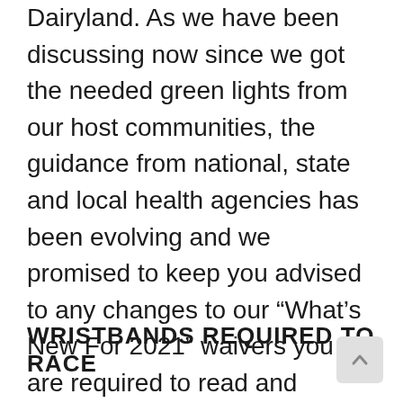Dairyland. As we have been discussing now since we got the needed green lights from our host communities, the guidance from national, state and local health agencies has been evolving and we promised to keep you advised to any changes to our “What’s New For 2021” waivers you are required to read and acknowledge prior to race day. That language is now changing and while we’ll let you read and sign it prior to bib pickups, here are some highlights:
WRISTBANDS REQUIRED TO RACE